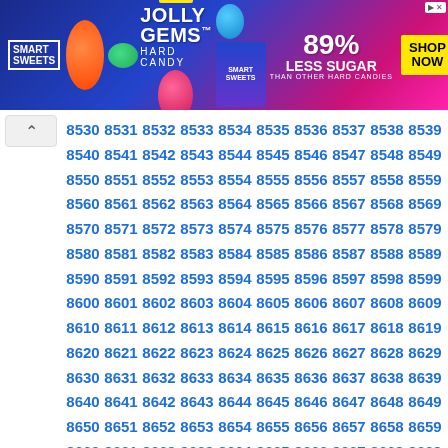[Figure (other): Smart Sweets Jolly Gems Hard Candy advertisement banner. 89% Less Sugar than other hard candies. Shop Now button.]
| 8530 | 8531 | 8532 | 8533 | 8534 | 8535 | 8536 | 8537 | 8538 | 8539 |
| 8540 | 8541 | 8542 | 8543 | 8544 | 8545 | 8546 | 8547 | 8548 | 8549 |
| 8550 | 8551 | 8552 | 8553 | 8554 | 8555 | 8556 | 8557 | 8558 | 8559 |
| 8560 | 8561 | 8562 | 8563 | 8564 | 8565 | 8566 | 8567 | 8568 | 8569 |
| 8570 | 8571 | 8572 | 8573 | 8574 | 8575 | 8576 | 8577 | 8578 | 8579 |
| 8580 | 8581 | 8582 | 8583 | 8584 | 8585 | 8586 | 8587 | 8588 | 8589 |
| 8590 | 8591 | 8592 | 8593 | 8594 | 8595 | 8596 | 8597 | 8598 | 8599 |
| 8600 | 8601 | 8602 | 8603 | 8604 | 8605 | 8606 | 8607 | 8608 | 8609 |
| 8610 | 8611 | 8612 | 8613 | 8614 | 8615 | 8616 | 8617 | 8618 | 8619 |
| 8620 | 8621 | 8622 | 8623 | 8624 | 8625 | 8626 | 8627 | 8628 | 8629 |
| 8630 | 8631 | 8632 | 8633 | 8634 | 8635 | 8636 | 8637 | 8638 | 8639 |
| 8640 | 8641 | 8642 | 8643 | 8644 | 8645 | 8646 | 8647 | 8648 | 8649 |
| 8650 | 8651 | 8652 | 8653 | 8654 | 8655 | 8656 | 8657 | 8658 | 8659 |
| 8660 | 8661 | 8662 | 8663 | 8664 | 8665 | 8666 | 8667 | 8668 | 8669 |
| 8670 | 8671 | 8672 | 8673 | 8674 | 8675 | 8676 | 8677 | 8678 | 8679 |
| 8680 | 8681 | 8682 | 8683 | 8684 | 8685 | 8686 | 8687 | 8688 | 8689 |
| 8690 | 8691 | 8692 | 8693 | 8694 | 8695 | 8696 | 8697 | 8698 | 8699 |
| 8700 | 8701 | 8702 | 8703 | 8704 | 8705 | 8706 | 8707 | 8708 | 8709 |
| 8710 | 8711 | 8712 | 8713 | 8714 | 8715 | 8716 | 8717 | 8718 | 8719 |
| 8720 | 8721 | 8722 | 8723 | 8724 | 8725 | 8726 | 8727 | 8728 | 8729 |